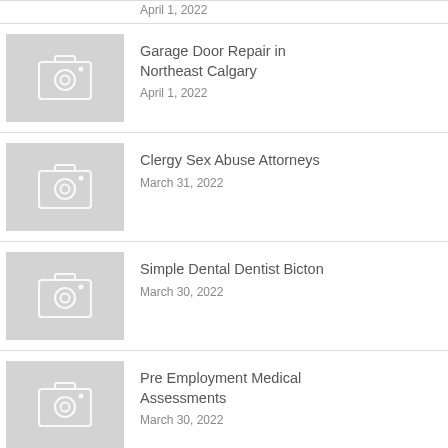April 1, 2022
[Figure (photo): Placeholder camera icon thumbnail]
Garage Door Repair in Northeast Calgary
April 1, 2022
[Figure (photo): Placeholder camera icon thumbnail]
Clergy Sex Abuse Attorneys
March 31, 2022
[Figure (photo): Placeholder camera icon thumbnail]
Simple Dental Dentist Bicton
March 30, 2022
[Figure (photo): Placeholder camera icon thumbnail]
Pre Employment Medical Assessments
March 30, 2022